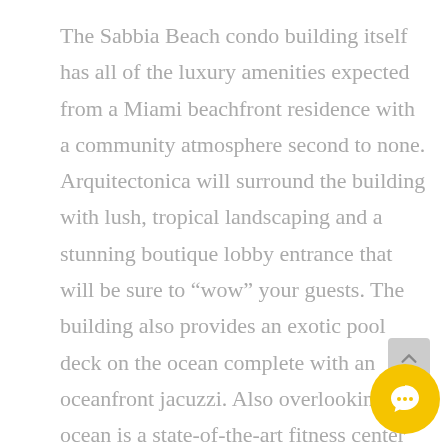The Sabbia Beach condo building itself has all of the luxury amenities expected from a Miami beachfront residence with a community atmosphere second to none. Arquitectonica will surround the building with lush, tropical landscaping and a stunning boutique lobby entrance that will be sure to “wow” your guests. The building also provides an exotic pool deck on the ocean complete with an oceanfront jacuzzi. Also overlooking the ocean is a state-of-the-art fitness center with his and her steam rooms, a designated yoga area, and a fully operational spa. To build tha community atmosphere everyone is looking